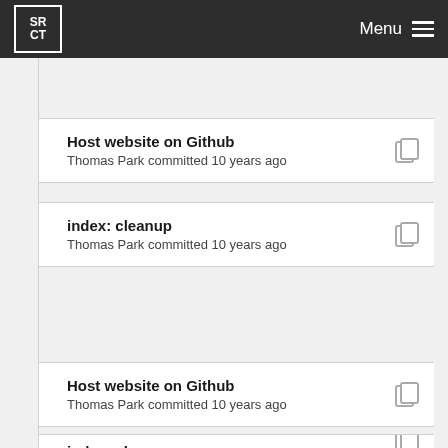SRCT Menu
Host website on Github
Thomas Park committed 10 years ago
index: cleanup
Thomas Park committed 10 years ago
Host website on Github
Thomas Park committed 10 years ago
index: cleanup
Thomas Park committed 10 years ago